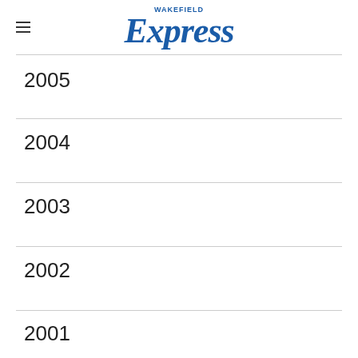Wakefield Express
2005
2004
2003
2002
2001